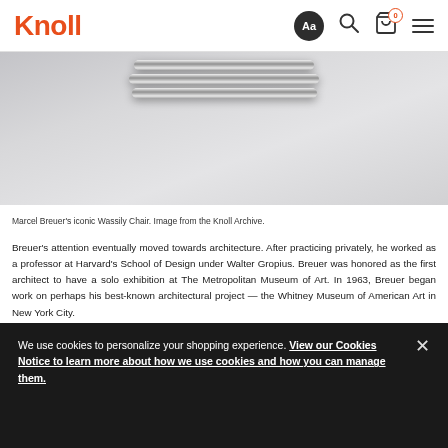Knoll
[Figure (photo): Partial view of Marcel Breuer's iconic Wassily Chair showing chrome tubular steel frame against light gray background]
Marcel Breuer's iconic Wassily Chair. Image from the Knoll Archive.
Breuer’s attention eventually moved towards architecture. After practicing privately, he worked as a professor at Harvard’s School of Design under Walter Gropius. Breuer was honored as the first architect to have a solo exhibition at The Metropolitan Museum of Art. In 1963, Breuer began work on perhaps his best-known architectural project — the Whitney Museum of American Art in New York City.
[Figure (photo): Bottom strip of another photograph, partially visible]
We use cookies to personalize your shopping experience. View our Cookies Notice to learn more about how we use cookies and how you can manage them.